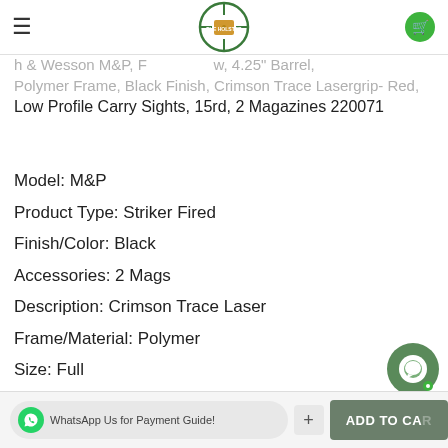The Holster - Concealed Carry Gear & Firearms
Smith & Wesson M&P, F... w, 4.25" Barrel, Polymer Frame, Black Finish, Crimson Trace Lasergrip- Red, Low Profile Carry Sights, 15rd, 2 Magazines 220071
Model: M&P
Product Type: Striker Fired
Finish/Color: Black
Accessories: 2 Mags
Description: Crimson Trace Laser
Frame/Material: Polymer
Size: Full
Caliber: 40 S&W
HOW TO ORDER
WhatsApp Us for Payment Guide! | + | ADD TO CART